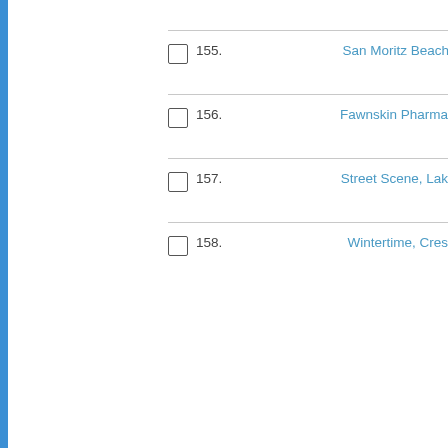155. San Moritz Beach
156. Fawnskin Pharma
157. Street Scene, Lak
158. Wintertime, Cres